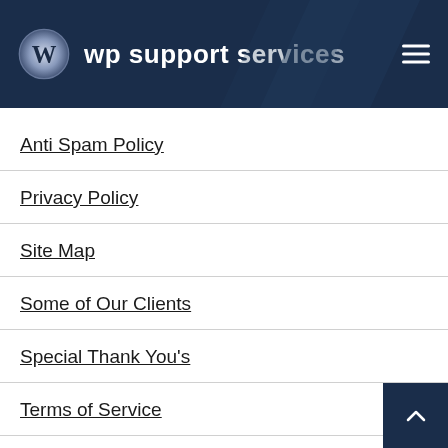wp support services
Anti Spam Policy
Privacy Policy
Site Map
Some of Our Clients
Special Thank You's
Terms of Service
WP Support Service Cookie Policy